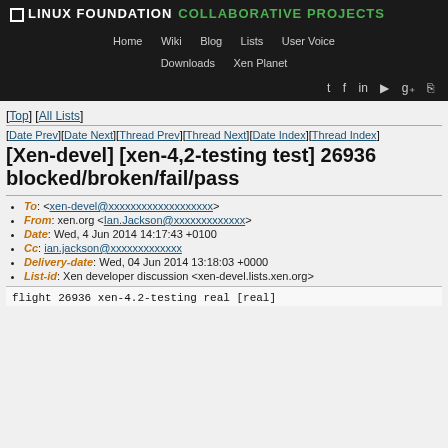LINUX FOUNDATION COLLABORATIVE PROJECTS — Home Wiki Blog Lists User Voice Downloads Xen Planet
[Top] [All Lists]
[Date Prev][Date Next][Thread Prev][Thread Next][Date Index][Thread Index]
[Xen-devel] [xen-4,2-testing test] 26936 blocked/broken/fail/pass
To: <xen-devel@xxxxxxxxxxxxxxxxxxx>
From: xen.org <Ian.Jackson@xxxxxxxxxxxxx>
Date: Wed, 4 Jun 2014 14:17:43 +0100
Cc: ian.jackson@xxxxxxxxxxxxx
Delivery-date: Wed, 04 Jun 2014 13:18:03 +0000
List-id: Xen developer discussion <xen-devel.lists.xen.org>
flight 26936 xen-4.2-testing real [real]